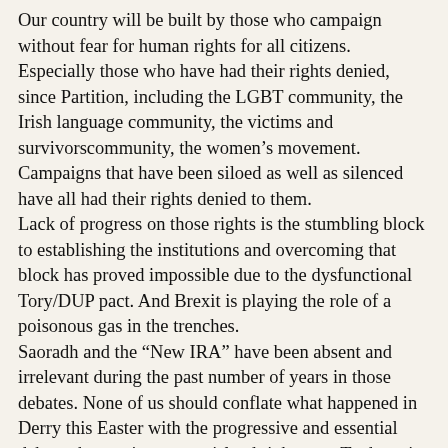Our country will be built by those who campaign without fear for human rights for all citizens. Especially those who have had their rights denied, since Partition, including the LGBT community, the Irish language community, the victims and survivorscommunity, the women’s movement. Campaigns that have been siloed as well as silenced have all had their rights denied to them.
Lack of progress on those rights is the stumbling block to establishing the institutions and overcoming that block has proved impossible due to the dysfunctional Tory/DUP pact. And Brexit is playing the role of a poisonous gas in the trenches.
Saoradh and the “New IRA” have been absent and irrelevant during the past number of years in those debates. None of us should conflate what happened in Derry this Easter with the progressive and essential debates happening on our island right now. To do so is opportunistic messing.
The PSNI needs to ensure effective, independent investigation into Lyra McKee’s murder, while the rest of us must resolve to protect the Good Friday Agreement, the